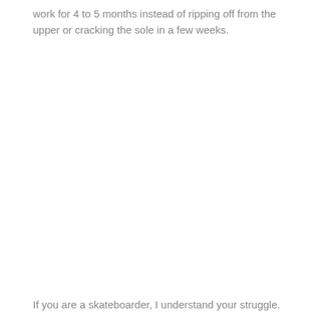work for 4 to 5 months instead of ripping off from the upper or cracking the sole in a few weeks.
If you are a skateboarder, I understand your struggle.